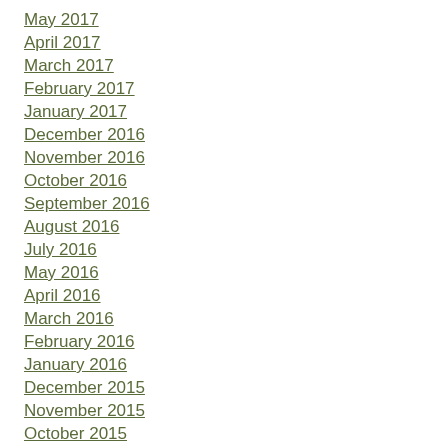May 2017
April 2017
March 2017
February 2017
January 2017
December 2016
November 2016
October 2016
September 2016
August 2016
July 2016
May 2016
April 2016
March 2016
February 2016
January 2016
December 2015
November 2015
October 2015